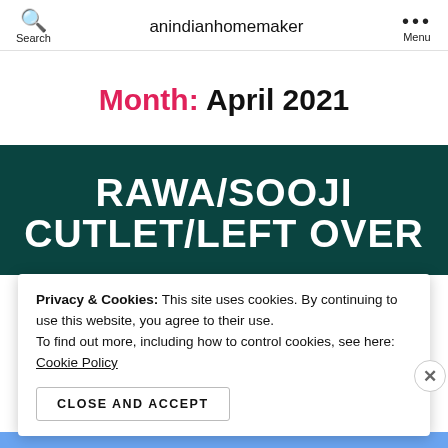Search | anindianhomemaker | Menu
Month: April 2021
RAWA/SOOJI CUTLET/LEFT OVER
Privacy & Cookies: This site uses cookies. By continuing to use this website, you agree to their use. To find out more, including how to control cookies, see here: Cookie Policy
CLOSE AND ACCEPT